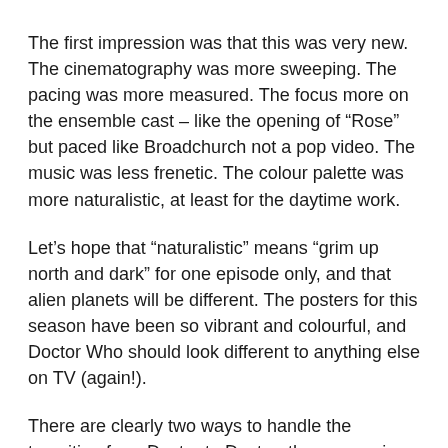The first impression was that this was very new. The cinematography was more sweeping. The pacing was more measured. The focus more on the ensemble cast – like the opening of “Rose” but paced like Broadchurch not a pop video. The music was less frenetic. The colour palette was more naturalistic, at least for the daytime work.
Let’s hope that “naturalistic” means “grim up north and dark” for one episode only, and that alien planets will be different. The posters for this season have been so vibrant and colourful, and Doctor Who should look different to anything else on TV (again!).
There are clearly two ways to handle the transition from Doctor to Doctor: the companions to hold your hand approach as you experience their shock, bewilderment and acceptance with them – “Power of the Daleks”, naturally, but also “Robot” or “Deep Breath”; and the all-change